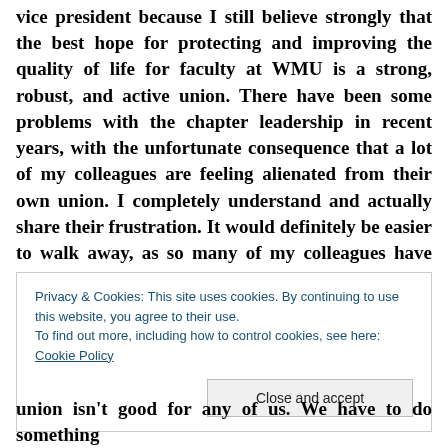vice president because I still believe strongly that the best hope for protecting and improving the quality of life for faculty at WMU is a strong, robust, and active union. There have been some problems with the chapter leadership in recent years, with the unfortunate consequence that a lot of my colleagues are feeling alienated from their own union. I completely understand and actually share their frustration. It would definitely be easier to walk away, as so many of my colleagues have already done or have been tempted to do.
Privacy & Cookies: This site uses cookies. By continuing to use this website, you agree to their use.
To find out more, including how to control cookies, see here: Cookie Policy
union isn't good for any of us. We have to do something